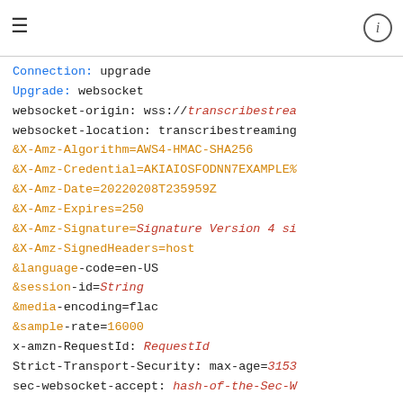Connection: upgrade
Upgrade: websocket
websocket-origin: wss://transcribestream…
websocket-location: transcribestreaming…
&X-Amz-Algorithm=AWS4-HMAC-SHA256
&X-Amz-Credential=AKIAIOSFODNN7EXAMPLE%…
&X-Amz-Date=20220208T235959Z
&X-Amz-Expires=250
&X-Amz-Signature=Signature Version 4 si…
&X-Amz-SignedHeaders=host
&language-code=en-US
&session-id=String
&media-encoding=flac
&sample-rate=16000
x-amzn-RequestId: RequestId
Strict-Transport-Security: max-age=3153…
sec-websocket-accept: hash-of-the-Sec-W…